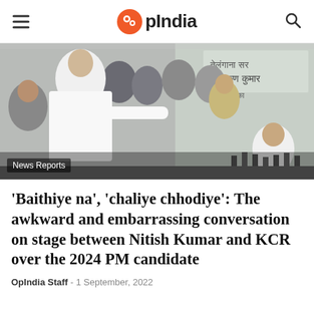OpIndia
[Figure (photo): Photo of Nitish Kumar on stage pointing, with other politicians and officials in the background. A banner in Hindi is visible in the background. A caption tag reads 'News Reports'.]
'Baithiye na', 'chaliye chhodiye': The awkward and embarrassing conversation on stage between Nitish Kumar and KCR over the 2024 PM candidate
OpIndia Staff - 1 September, 2022